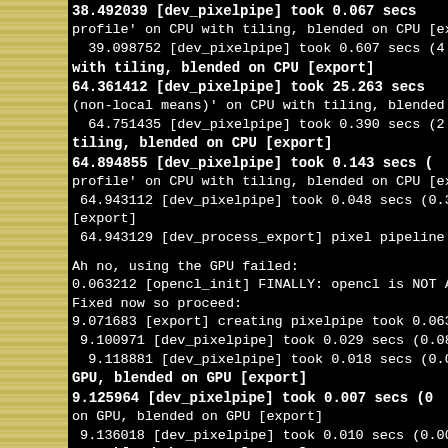[Figure (screenshot): Terminal/log output screenshot showing pixel pipeline processing times with dev_pixelpipe and other module log entries on a black background, with a tan/yellow striped sidebar on the left.]
38.492039 [dev_pixelpipe] took 0.067 secs
profile' on CPU with tiling, blended on CPU [export]
  39.098752 [dev_pixelpipe] took 0.607 secs (4.769 CPU) proc
with tiling, blended on CPU [export]
64.361412 [dev_pixelpipe] took 25.263 secs
(non-local means)' on CPU with tiling, blended on CPU [export]
  64.751435 [dev_pixelpipe] took 0.390 secs (2.610 CPU) p
tiling, blended on CPU [export]
64.894855 [dev_pixelpipe] took 0.143 secs (
profile' on CPU with tiling, blended on CPU [export]
 64.943112 [dev_pixelpipe] took 0.048 secs (0.335 CPU) proc
[export]
 64.943129 [dev_process_export] pixel pipeline processing took 2

Ah no, using the GPU failed:
0.063212 [opencl_init] FINALLY: opencl is NOT AVAILABLE o
Fixed now so proceed:
9.071683 [export] creating pixelpipe took 0.063 secs (0.082 CPU)
 9.100971 [dev_pixelpipe] took 0.029 secs (0.081 CPU) initing ba
  9.118881 [dev_pixelpipe] took 0.018 secs (0.017 CPU) proces
GPU, blended on GPU [export]
9.125964 [dev_pixelpipe] took 0.007 secs (0
on GPU, blended on GPU [export]
 9.136018 [dev_pixelpipe] took 0.010 secs (0.002 CPU) processe
GPU, blended on GPU [export]
9.168534 [dev_pixelpipe] took 0.033 secs (0